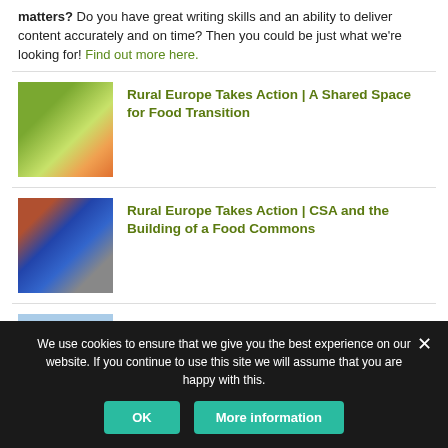matters? Do you have great writing skills and an ability to deliver content accurately and on time? Then you could be just what we're looking for! Find out more here.
[Figure (photo): Photo of vegetables and produce in white trays on a table, viewed from above]
Rural Europe Takes Action | A Shared Space for Food Transition
[Figure (photo): Person in blue jacket selecting produce at an outdoor market stall]
Rural Europe Takes Action | CSA and the Building of a Food Commons
[Figure (photo): Group of people outdoors in a rural landscape with mountains]
Rural Europe Takes Action | Regenerative Governance in Rural Spain
We use cookies to ensure that we give you the best experience on our website. If you continue to use this site we will assume that you are happy with this.